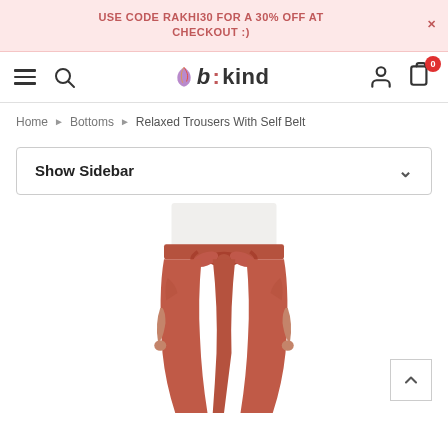USE CODE RAKHI30 FOR A 30% OFF AT CHECKOUT :)
[Figure (logo): b:kind logo with decorative leaf/feather motif]
Home > Bottoms > Relaxed Trousers With Self Belt
Show Sidebar
[Figure (photo): Woman wearing terracotta/rust colored relaxed trousers with self belt tied at waist, paired with white top. Product photo cropped from mid-torso to mid-calf.]